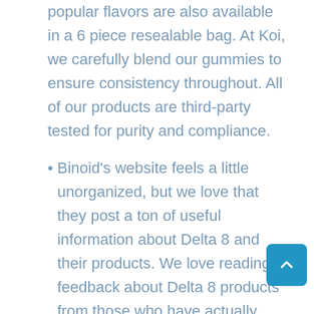popular flavors are also available in a 6 piece resealable bag. At Koi, we carefully blend our gummies to ensure consistency throughout. All of our products are third-party tested for purity and compliance.
Binoid's website feels a little unorganized, but we love that they post a ton of useful information about Delta 8 and their products. We love reading feedback about Delta 8 products from those who have actually tried them first-hand. The hemp community is really generous and wants to help others find the best products and avoid the worst.
They also contain 10mg of CBD isolate alongside the 10mg of Delta 8 THC. The gummies have a full 1000mg full-spectrum